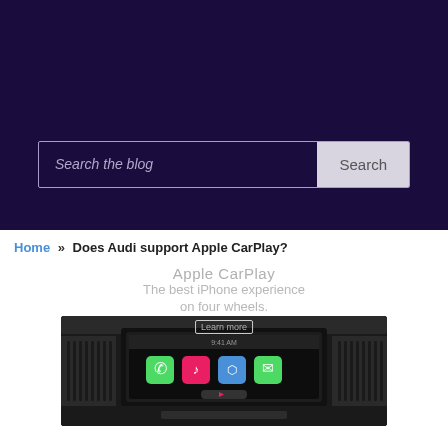Search the blog [Search button]
Home » Does Audi support Apple CarPlay?
[Figure (photo): Apple CarPlay promotional banner showing 'Apple CarPlay - The best iPhone experience on four wheels.' with a car dashboard infotainment screen showing CarPlay interface with phone, music, maps, and messages icons.]
Does Audi support Apple